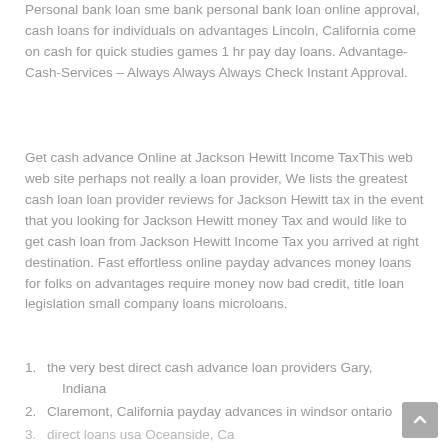Personal bank loan sme bank personal bank loan online approval, cash loans for individuals on advantages Lincoln, California come on cash for quick studies games 1 hr pay day loans. Advantage-Cash-Services – Always Always Always Check Instant Approval.
Get cash advance Online at Jackson Hewitt Income TaxThis web web site perhaps not really a loan provider, We lists the greatest cash loan loan provider reviews for Jackson Hewitt tax in the event that you looking for Jackson Hewitt money Tax and would like to get cash loan from Jackson Hewitt Income Tax you arrived at right destination. Fast effortless online payday advances money loans for folks on advantages require money now bad credit, title loan legislation small company loans microloans.
the very best direct cash advance loan providers Gary, Indiana
Claremont, California payday advances in windsor ontario
direct loans usa Oceanside, Ca